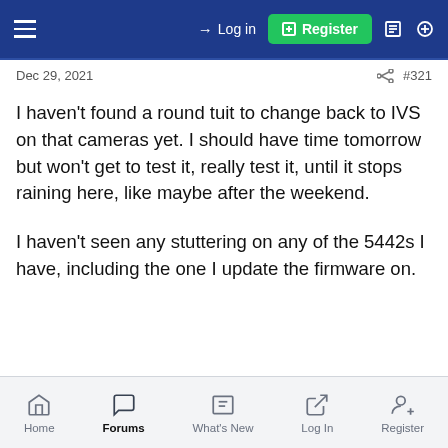Log in  Register
Dec 29, 2021  #321
I haven't found a round tuit to change back to IVS on that cameras yet. I should have time tomorrow but won't get to test it, really test it, until it stops raining here, like maybe after the weekend.

I haven't seen any stuttering on any of the 5442s I have, including the one I update the firmware on.
Home  Forums  What's New  Log In  Register